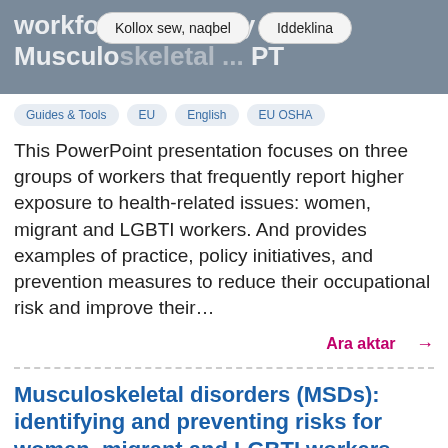Workforce Diversity and Musculoskeletal ... PT
Kollox sew, naqbel | Iddeklina
Guides & Tools  EU  English  EU OSHA
This PowerPoint presentation focuses on three groups of workers that frequently report higher exposure to health-related issues: women, migrant and LGBTI workers. And provides examples of practice, policy initiatives, and prevention measures to reduce their occupational risk and improve their...
Ara aktar →
Musculoskeletal disorders (MSDs): identifying and preventing risks for women, migrant and LGBTI workers